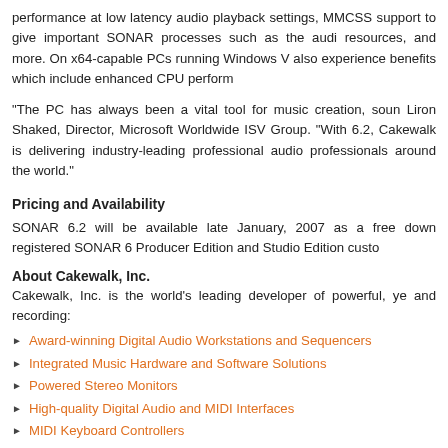performance at low latency audio playback settings, MMCSS support to give important SONAR processes such as the audio resources, and more. On x64-capable PCs running Windows V also experience benefits which include enhanced CPU perform
“The PC has always been a vital tool for music creation, soun Liron Shaked, Director, Microsoft Worldwide ISV Group. “With 6.2, Cakewalk is delivering industry-leading professional audio professionals around the world.”
Pricing and Availability
SONAR 6.2 will be available late January, 2007 as a free down registered SONAR 6 Producer Edition and Studio Edition custo
About Cakewalk, Inc.
Cakewalk, Inc. is the world’s leading developer of powerful, ye and recording:
Award-winning Digital Audio Workstations and Sequencers
Integrated Music Hardware and Software Solutions
Powered Stereo Monitors
High-quality Digital Audio and MIDI Interfaces
MIDI Keyboard Controllers
Innovative Virtual Instruments and Effects